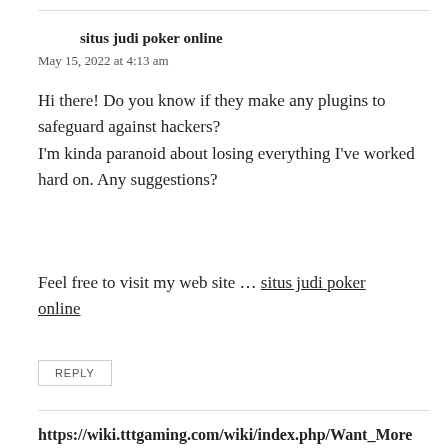situs judi poker online
May 15, 2022 at 4:13 am
Hi there! Do you know if they make any plugins to safeguard against hackers? I'm kinda paranoid about losing everything I've worked hard on. Any suggestions?
Feel free to visit my web site … situs judi poker online
REPLY
https://wiki.tttgaming.com/wiki/index.php/Want_More